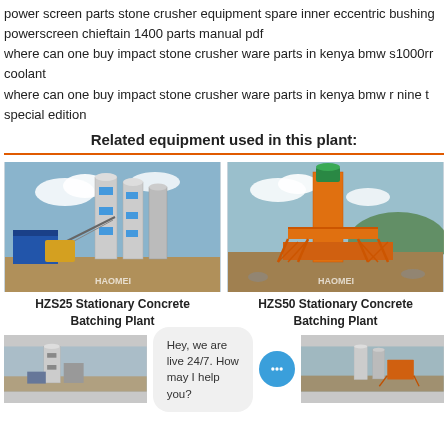power screen parts stone crusher equipment spare inner eccentric bushing
powerscreen chieftain 1400 parts manual pdf
where can one buy impact stone crusher ware parts in kenya bmw s1000rr coolant
where can one buy impact stone crusher ware parts in kenya bmw r nine t special edition
Related equipment used in this plant:
[Figure (photo): HZS25 Stationary Concrete Batching Plant - industrial photo showing concrete batching plant with silos and blue equipment, HAOMEI watermark]
HZS25 Stationary Concrete Batching Plant
[Figure (photo): HZS50 Stationary Concrete Batching Plant - industrial photo showing tall orange batching plant tower, HAOMEI watermark]
HZS50 Stationary Concrete Batching Plant
[Figure (photo): Partial view of another concrete batching plant equipment]
[Figure (photo): Partial view of another concrete batching plant equipment]
Hey, we are live 24/7. How may I help you?